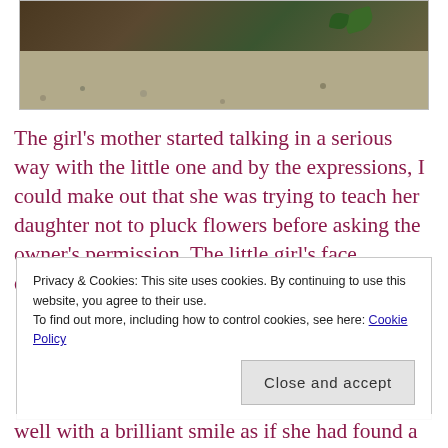[Figure (photo): Partial photo showing gravel ground and a leaf/plant, appears to be outdoor garden scene]
The girl’s mother started talking in a serious way with the little one and by the expressions, I could make out that she was trying to teach her daughter not to pluck flowers before asking the owner’s permission. The little girl’s face drooped down for few mins, but in the
Privacy & Cookies: This site uses cookies. By continuing to use this website, you agree to their use.
To find out more, including how to control cookies, see here: Cookie Policy
Close and accept
well with a brilliant smile as if she had found a